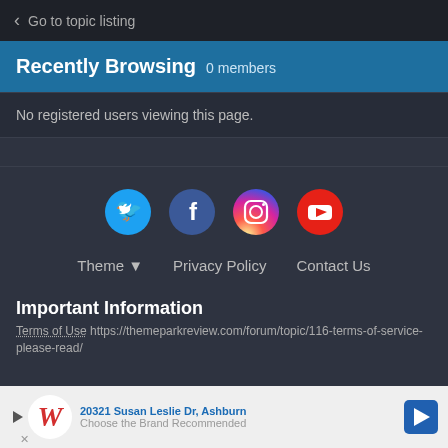< Go to topic listing
Recently Browsing  0 members
No registered users viewing this page.
[Figure (illustration): Social media icons: Twitter (blue circle with bird), Facebook (dark blue circle with f), Instagram (circle with camera outline), YouTube (red circle with play button)]
Theme ▼   Privacy Policy   Contact Us
Important Information
Terms of Use https://themeparkreview.com/forum/topic/116-terms-of-service-please-read/
[Figure (infographic): Walgreens advertisement banner: 20321 Susan Leslie Dr, Ashburn — Choose the Brand Recommended]